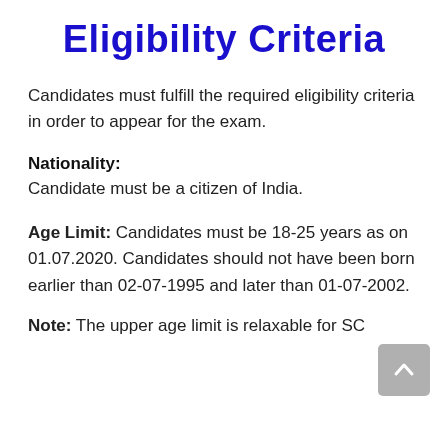Eligibility Criteria
Candidates must fulfill the required eligibility criteria in order to appear for the exam.
Nationality:
Candidate must be a citizen of India.
Age Limit: Candidates must be 18-25 years as on 01.07.2020. Candidates should not have been born earlier than 02-07-1995 and later than 01-07-2002.
Note: The upper age limit is relaxable for SC